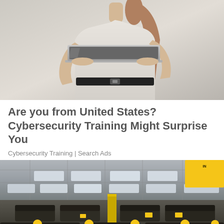[Figure (photo): Woman in white blouse and black belt holding a silver laptop, cropped from shoulders to waist, light gray background]
Are you from United States? Cybersecurity Training Might Surprise You
Cybersecurity Training | Search Ads
[Figure (photo): Interior of a furniture showroom with drop ceiling and recessed lighting panels, dark leather sofas and sectionals on the floor, yellow price balloons attached to furniture, yellow promotional signage on walls and columns]